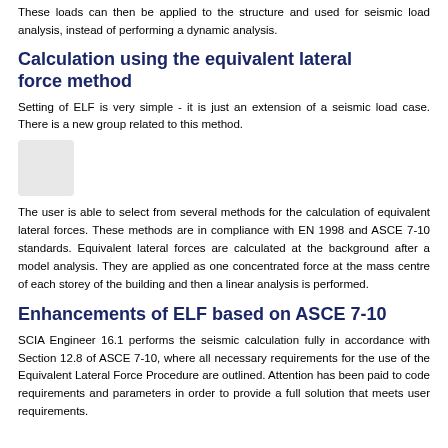These loads can then be applied to the structure and used for seismic load analysis, instead of performing a dynamic analysis.
Calculation using the equivalent lateral force method
Setting of ELF is very simple - it is just an extension of a seismic load case. There is a new group related to this method.
[Figure (screenshot): Small gray rounded rectangle UI element]
The user is able to select from several methods for the calculation of equivalent lateral forces. These methods are in compliance with EN 1998 and ASCE 7-10 standards. Equivalent lateral forces are calculated at the background after a model analysis. They are applied as one concentrated force at the mass centre of each storey of the building and then a linear analysis is performed.
Enhancements of ELF based on ASCE 7-10
SCIA Engineer 16.1 performs the seismic calculation fully in accordance with Section 12.8 of ASCE 7-10, where all necessary requirements for the use of the Equivalent Lateral Force Procedure are outlined. Attention has been paid to code requirements and parameters in order to provide a full solution that meets user requirements.